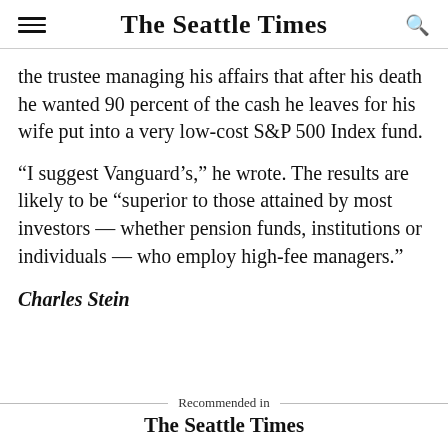The Seattle Times
the trustee managing his affairs that after his death he wanted 90 percent of the cash he leaves for his wife put into a very low-cost S&P 500 Index fund.
“I suggest Vanguard’s,” he wrote. The results are likely to be “superior to those attained by most investors — whether pension funds, institutions or individuals — who employ high-fee managers.”
Charles Stein
Recommended in
The Seattle Times